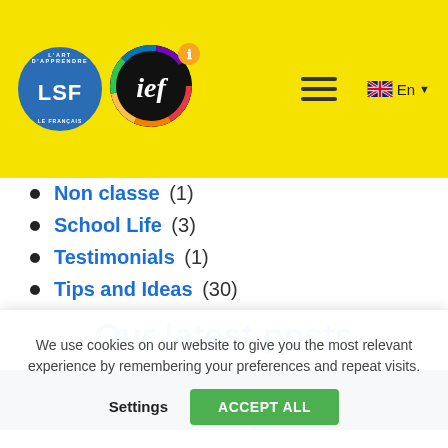[Figure (logo): LSF and IEF school logos with navigation hamburger menu and language selector on yellow background header]
Non classe (1)
School Life (3)
Testimonials (1)
Tips and Ideas (30)
Our latest posts
[Figure (photo): Dark navy banner with partial image visible at bottom]
We use cookies on our website to give you the most relevant experience by remembering your preferences and repeat visits.
Settings  ACCEPT ALL